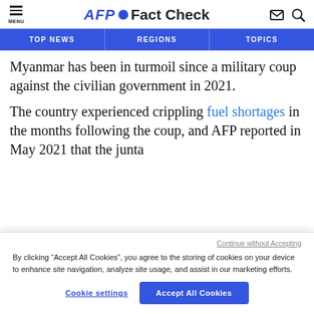MENU | AFP Fact Check
TOP NEWS | REGIONS | TOPICS
Myanmar has been in turmoil since a military coup against the civilian government in 2021.
The country experienced crippling fuel shortages in the months following the coup, and AFP reported in May 2021 that the junta
Continue without Accepting
By clicking “Accept All Cookies”, you agree to the storing of cookies on your device to enhance site navigation, analyze site usage, and assist in our marketing efforts.
Cookie settings | Accept All Cookies